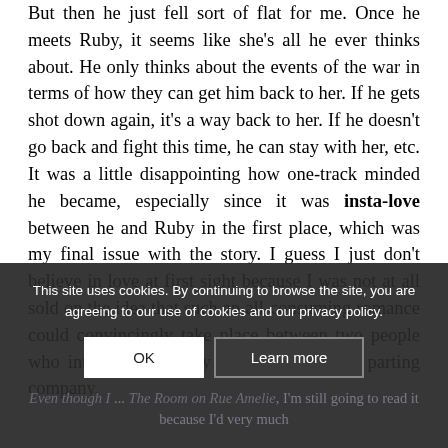But then he just fell sort of flat for me. Once he meets Ruby, it seems like she's all he ever thinks about. He only thinks about the events of the war in terms of how they can get him back to her. If he gets shot down again, it's a way back to her. If he doesn't go back and fight this time, he can stay with her, etc. It was a little disappointing how one-track minded he became, especially since it was insta-love between he and Ruby in the first place, which was my final issue with the story. I guess I just don't believe in love at first sight because I was not at all sold on the idea that such an all-consuming romance could convincingly take place between two people who interacted for only a few days before parting company.
This site uses cookies. By continuing to browse the site, you are agreeing to our use of cookies and our privacy policy.
Even though I ... The Room on Rue Amelie, I'm still going to read it because I'd very much